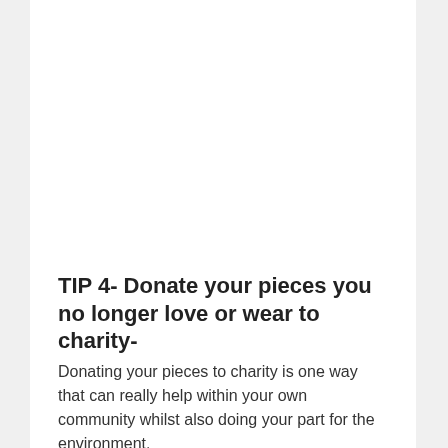TIP 4- Donate your pieces you no longer love or wear to charity-
Donating your pieces to charity is one way that can really help within your own community whilst also doing your part for the environment.